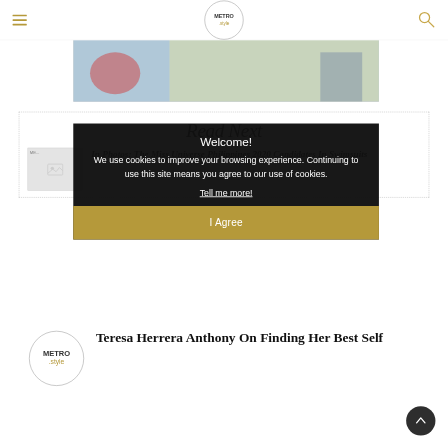METRO.style
[Figure (photo): Partial hero image showing colorful scene, cropped at top]
Read Next
Welcome! We use cookies to improve your browsing experience. Continuing to use this site means you agree to our use of cookies. Tell me more! I Agree
In Photos: The Miss Universe Philippines 2020 Candidates In Swimsuits
[Figure (logo): METRO.style logo circle]
Teresa Herrera Anthony On Finding Her Best Self